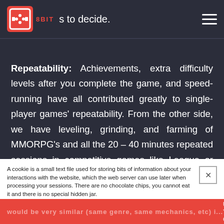8BIT — [logo] — to decide.
Repeatability: Achievements, extra difficulty levels after you complete the game, and speed-running have all contributed greatly to single-player games' repeatability. From the other side, we have leveling, grinding, and farming of MMORPG's and all the 20 – 40 minutes repeated sessions in competitive games like League or CS. To become even moderately 'good' or 'not noob' at DOTA2 I think you need at least 300 hours of the game which probably would mean around 600 matches of which most would be very similar (same genre, same mechanics, etc) i...
A cookie is a small text file used for storing bits of information about your interactions with the website, which the web server can use later when processing your sessions. There are no chocolate chips, you cannot eat it and there is no special hidden jar.
... multi has much m   UPLOAD YOUR CV